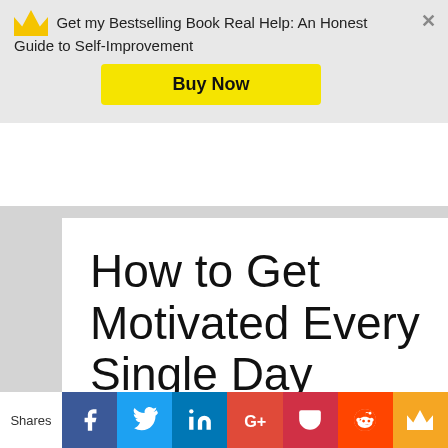Get my Bestselling Book Real Help: An Honest Guide to Self-Improvement
Buy Now
How to Get Motivated Every Single Day
By AAwosika07 | productivity
Short answer – You don't, but
Shares  [Facebook] [Twitter] [LinkedIn] [Google+] [Pocket] [Reddit] [Crown]